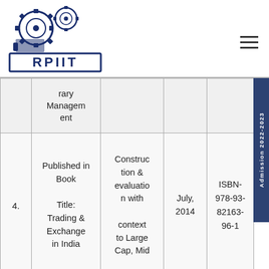[Figure (logo): RPIIT college logo with gears and RPIIT text in blue]
| # | Publication Type | Topic | Date | ISBN |
| --- | --- | --- | --- | --- |
|  | rary Management |  |  |  |
| 4. | Published in Book

Title: Trading & Exchange in India | Construction & evaluation with context to Large Cap, Mid Cap... | July, 2014 | ISBN-978-93-82163-96-1 |